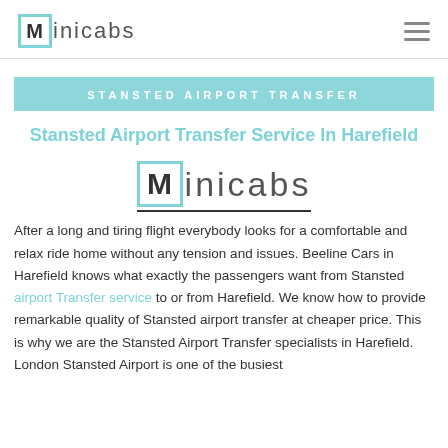Minicabs
STANSTED AIRPORT TRANSFER
Stansted Airport Transfer Service In Harefield
[Figure (logo): Minicabs logo — large M in teal-bordered box followed by 'inicabs' text, with underline]
After a long and tiring flight everybody looks for a comfortable and relax ride home without any tension and issues. Beeline Cars in Harefield knows what exactly the passengers want from Stansted airport Transfer service to or from Harefield. We know how to provide remarkable quality of Stansted airport transfer at cheaper price. This is why we are the Stansted Airport Transfer specialists in Harefield. London Stansted Airport is one of the busiest